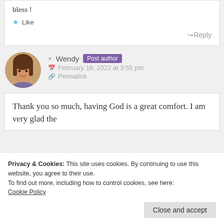bless !
Like
Reply
Wendy  Post author
February 18, 2022 at 3:55 pm
Permalink
Thank you so much, having God is a great comfort. I am very glad the
Privacy & Cookies: This site uses cookies. By continuing to use this website, you agree to their use.
To find out more, including how to control cookies, see here:
Cookie Policy
Close and accept